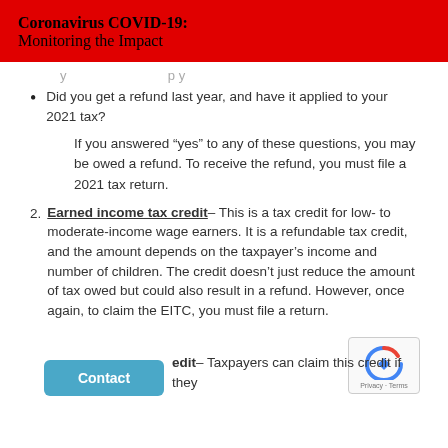Coronavirus COVID-19:
Monitoring the Impact
[truncated line]
Did you get a refund last year, and have it applied to your 2021 tax?
If you answered “yes” to any of these questions, you may be owed a refund. To receive the refund, you must file a 2021 tax return.
Earned income tax credit– This is a tax credit for low- to moderate-income wage earners. It is a refundable tax credit, and the amount depends on the taxpayer’s income and number of children. The credit doesn’t just reduce the amount of tax owed but could also result in a refund. However, once again, to claim the EITC, you must file a return.
[Contact button]
edit– Taxpayers can claim this credit if they